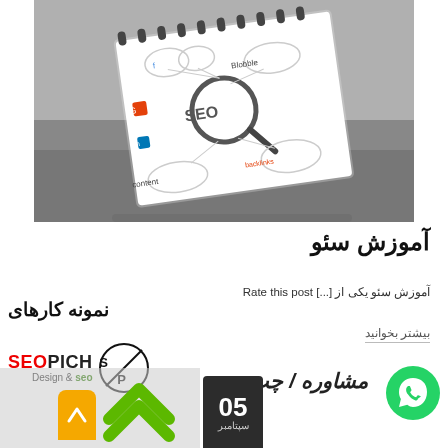[Figure (photo): A notebook with SEO concept mind-map illustration (magnifying glass, social media icons, search engine logos) lying on a gray desk surface, photographed from above at an angle.]
آموزش سئو
آموزش سئو یکی از [...] Rate this post
بیشتر بخوانید
نمونه کارهای
[Figure (logo): SEOPICH Design & seo logo with circular S/P emblem]
مشاوره / چت
05 سپتامبر
[Figure (illustration): WhatsApp green circle button icon]
[Figure (illustration): Yellow rounded rectangle up-arrow button and large green double chevron up-arrow]